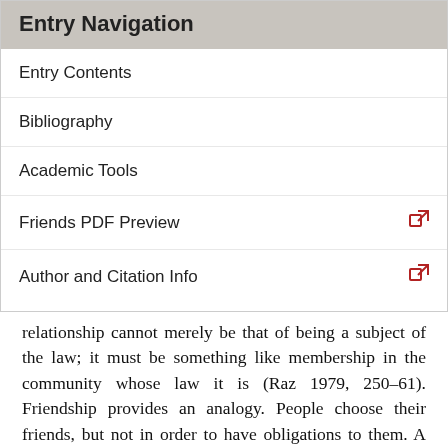Entry Navigation
Entry Contents
Bibliography
Academic Tools
Friends PDF Preview
Author and Citation Info
relationship cannot merely be that of being a subject of the law; it must be something like membership in the community whose law it is (Raz 1979, 250–61). Friendship provides an analogy. People choose their friends, but not in order to have obligations to them. A flourishing friendship does, however, bring obligations in train. In addition to the familiar reasons for fulfilling its duties of support, honesty, reciprocity etc., it is plausible to suppose that doing so also expresses and is known to express loyalty to one's friends, and that that gives additional support to the duties. Similarly, suggests Raz,